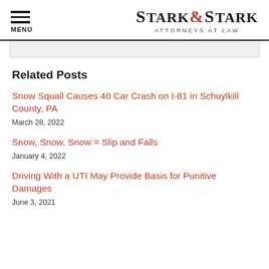MENU | STARK & STARK ATTORNEYS AT LAW
Related Posts
Snow Squall Causes 40 Car Crash on I-81 in Schuylkill County, PA
March 28, 2022
Snow, Snow, Snow = Slip and Falls
January 4, 2022
Driving With a UTI May Provide Basis for Punitive Damages
June 3, 2021